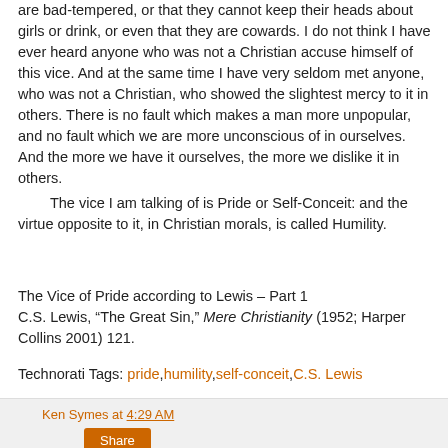are bad-tempered, or that they cannot keep their heads about girls or drink, or even that they are cowards. I do not think I have ever heard anyone who was not a Christian accuse himself of this vice. And at the same time I have very seldom met anyone, who was not a Christian, who showed the slightest mercy to it in others. There is no fault which makes a man more unpopular, and no fault which we are more unconscious of in ourselves. And the more we have it ourselves, the more we dislike it in others.
    The vice I am talking of is Pride or Self-Conceit: and the virtue opposite to it, in Christian morals, is called Humility.
The Vice of Pride according to Lewis – Part 1
C.S. Lewis, “The Great Sin,” Mere Christianity (1952; Harper Collins 2001) 121.
Technorati Tags: pride,humility,self-conceit,C.S. Lewis
Ken Symes at 4:29 AM
Share